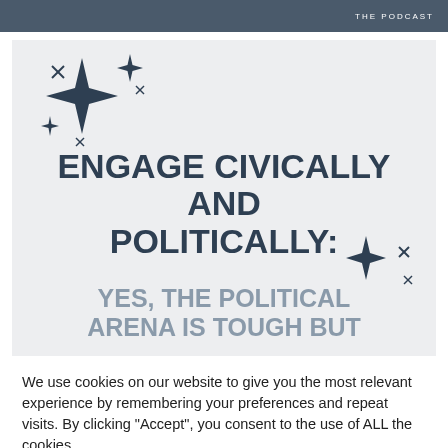THE PODCAST
[Figure (illustration): Decorative star/sparkle cluster graphic in dark slate color, top-left of card]
ENGAGE CIVICALLY AND POLITICALLY:
YES, THE POLITICAL ARENA IS TOUGH BUT
We use cookies on our website to give you the most relevant experience by remembering your preferences and repeat visits. By clicking "Accept", you consent to the use of ALL the cookies.
Cookie settings   ACCEPT